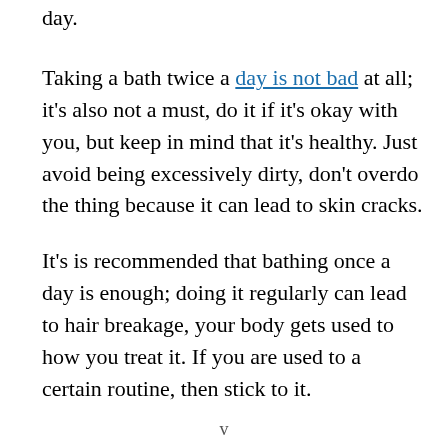day.
Taking a bath twice a day is not bad at all; it's also not a must, do it if it's okay with you, but keep in mind that it's healthy. Just avoid being excessively dirty, don't overdo the thing because it can lead to skin cracks.
It's is recommended that bathing once a day is enough; doing it regularly can lead to hair breakage, your body gets used to how you treat it. If you are used to a certain routine, then stick to it.
v